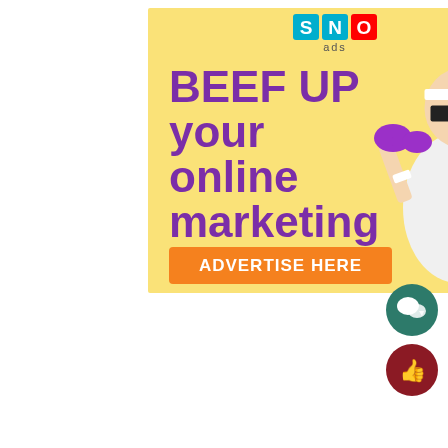[Figure (infographic): SNO ads advertisement banner on yellow background featuring a man in gym clothes holding purple dumbbells. Text reads 'BEEF UP your online marketing' in large bold purple letters. Below is an orange button with white text 'ADVERTISE HERE'. Top has SNO ads logo with blue/teal letter tiles S, N, O and 'ads' text beneath.]
[Figure (illustration): Dark teal/green circular icon with white speech bubble / chat icon]
[Figure (illustration): Dark red circular icon with white thumbs up icon]